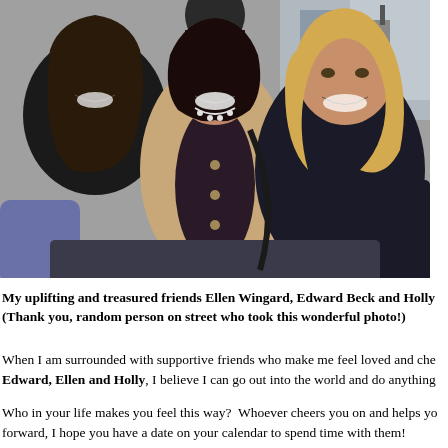[Figure (photo): Three women smiling and posing together outdoors on a city street. The woman on the left has long dark hair and wears a black top. The woman in the middle wears a tan/beige coat over a dark top and has a pearl necklace. The woman on the right has blonde hair and wears a dark puffer jacket. A man is partially visible in the background.]
My uplifting and treasured friends Ellen Wingard, Edward Beck and Holly (Thank you, random person on street who took this wonderful photo!)
When I am surrounded with supportive friends who make me feel loved and che Edward, Ellen and Holly, I believe I can go out into the world and do anything
Who in your life makes you feel this way?  Whoever cheers you on and helps yo forward, I hope you have a date on your calendar to spend time with them!